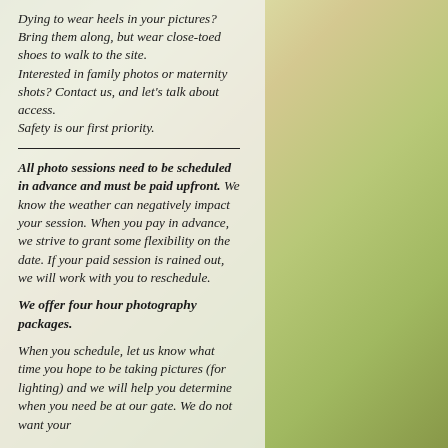Dying to wear heels in your pictures? Bring them along, but wear close-toed shoes to walk to the site. Interested in family photos or maternity shots? Contact us, and let's talk about access. Safety is our first priority.
All photo sessions need to be scheduled in advance and must be paid upfront. We know the weather can negatively impact your session. When you pay in advance, we strive to grant some flexibility on the date. If your paid session is rained out, we will work with you to reschedule.
We offer four hour photography packages.
When you schedule, let us know what time you hope to be taking pictures (for lighting) and we will help you determine when you need be at our gate. We do not want your